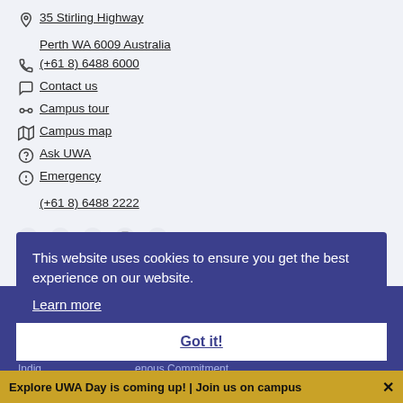35 Stirling Highway Perth WA 6009 Australia
(+61 8) 6488 6000
Contact us
Campus tour
Campus map
Ask UWA
Emergency (+61 8) 6488 2222
[Figure (infographic): Social media icons: Facebook (blue), Twitter (blue), YouTube (red), Instagram (dark), LinkedIn (dark)]
This website uses cookies to ensure you get the best experience on our website.
Learn more
Got it!
CRICOS Code: 00126G
Indigenous Commitment
Privacy at UWA
Disclaimer and Copyright
Accessibility
This page
Explore UWA Day is coming up! | Join us on campus